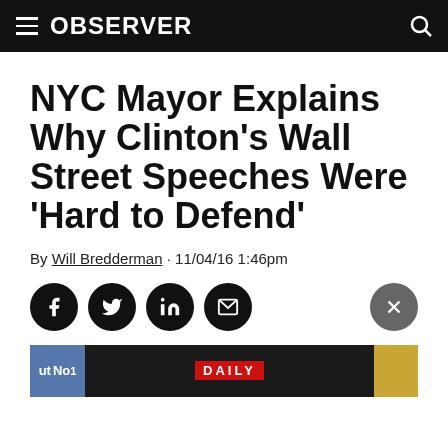OBSERVER
NYC Mayor Explains Why Clinton's Wall Street Speeches Were 'Hard to Defend'
By Will Bredderman · 11/04/16 1:46pm
[Figure (other): Social sharing buttons: Facebook, Twitter, LinkedIn, Email, and a close (X) button]
[Figure (photo): Partial bottom image strip from a news article, showing colored blocks and a DAILY logo]